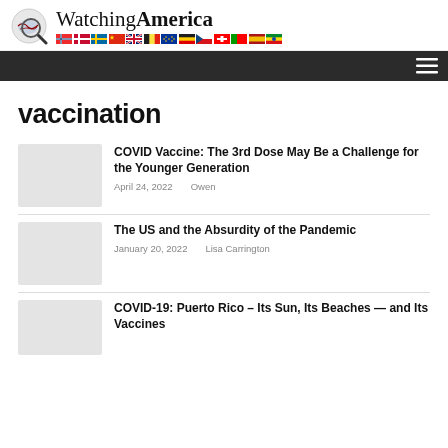WatchingAmerica
vaccination
COVID Vaccine: The 3rd Dose May Be a Challenge for the Younger Generation
April 24, 2022   Owen
The US and the Absurdity of the Pandemic
January 20, 2022   Lisa Carrington
COVID-19: Puerto Rico – Its Sun, Its Beaches — and Its Vaccines